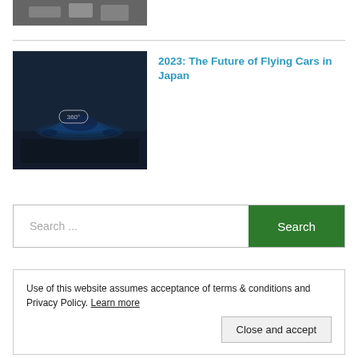[Figure (photo): Partial view of a black and white photo at the top of the page, appears to show a lunar/space landing scene]
[Figure (photo): Dark futuristic flying car vehicle in a garage/warehouse setting with '360' text overlay]
2023: The Future of Flying Cars in Japan
Search ...
Search
Use of this website assumes acceptance of terms & conditions and Privacy Policy. Learn more
Close and accept